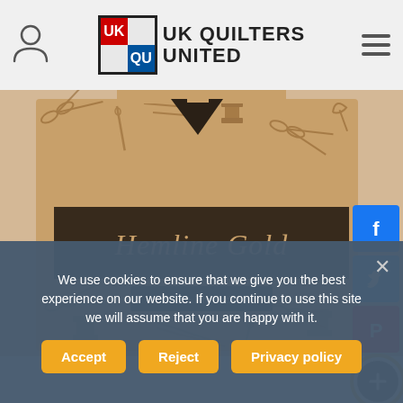[Figure (logo): UK Quilters United logo with red UQ and blue QU squares in a grid box, with bold text UK QUILTERS UNITED]
[Figure (photo): Hemline Gold Needle Threaders product card on kraft/tan cardboard background with sewing notions pattern (scissors, needles, thread spools), dark banner with cursive gold text 'Hemline Gold' and sub-banner 'Needle Threaders', triangular hanger cutout at top]
[Figure (infographic): Social media share buttons: Facebook (blue), Twitter (blue), Pinterest (red), and a Google+ style circular share button with gold ring]
We use cookies to ensure that we give you the best experience on our website. If you continue to use this site we will assume that you are happy with it.